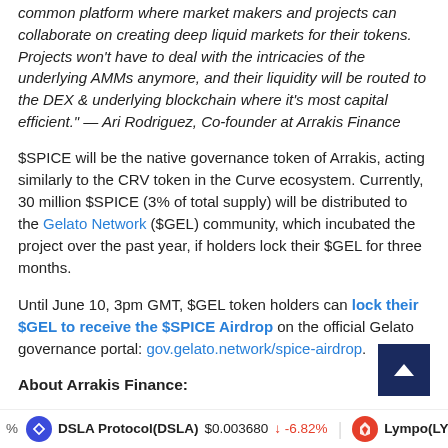common platform where market makers and projects can collaborate on creating deep liquid markets for their tokens. Projects won't have to deal with the intricacies of the underlying AMMs anymore, and their liquidity will be routed to the DEX & underlying blockchain where it's most capital efficient." — Ari Rodriguez, Co-founder at Arrakis Finance
$SPICE will be the native governance token of Arrakis, acting similarly to the CRV token in the Curve ecosystem. Currently, 30 million $SPICE (3% of total supply) will be distributed to the Gelato Network ($GEL) community, which incubated the project over the past year, if holders lock their $GEL for three months.
Until June 10, 3pm GMT, $GEL token holders can lock their $GEL to receive the $SPICE Airdrop on the official Gelato governance portal: gov.gelato.network/spice-airdrop.
About Arrakis Finance:
% DSLA Protocol(DSLA) $0.003680 -6.82% Lympo(LY